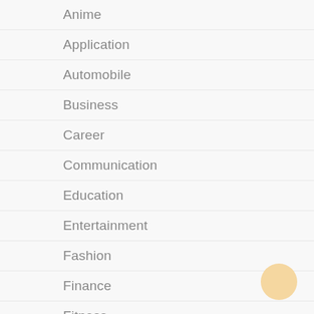Anime
Application
Automobile
Business
Career
Communication
Education
Entertainment
Fashion
Finance
Fitness
Food
Games